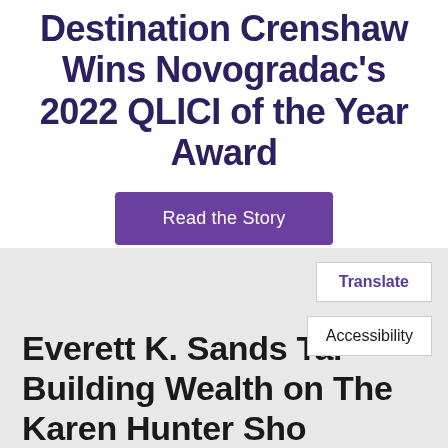Destination Crenshaw Wins Novogradac's 2022 QLICI of the Year Award
Read the Story
Everett K. Sands Talks Building Wealth on The Karen Hunter Show
Translate
Accessibility